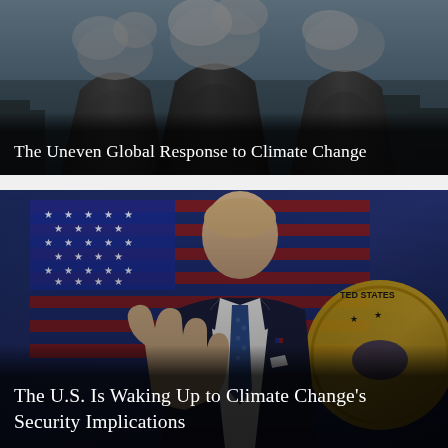[Figure (photo): Industrial cooling towers with steam/smoke, dark overcast sky, urban industrial background — illustrating climate change and fossil fuel emissions]
The Uneven Global Response to Climate Change
[Figure (photo): A man in a dark suit with a blue patterned tie stands in front of a large American flag and a partial United States government seal, raising his right hand as if gesturing or speaking at a podium]
The U.S. Is Waking Up to Climate Change's Security Implications